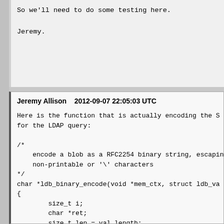So we'll need to do some testing here.

Jeremy.
Jeremy Allison    2012-09-07 22:05:03 UTC
Here is the function that is actually encoding the S
for the LDAP query:
/*
    encode a blob as a RFC2254 binary string, escapin
    non-printable or '\' characters
*/
char *ldb_binary_encode(void *mem_ctx, struct ldb_va
{
        size_t i;
        char *ret;
        size_t len = val.length;
        unsigned char *buf = val.data;

        for (i=0;i<val.length;i++) {
                if (!isprint(buf[i]) || strchr(" *()
                        len += 2;
                }
        }
        ret = talloc_array(mem_ctx, char, len+1);
        if (ret == NULL) return NULL;